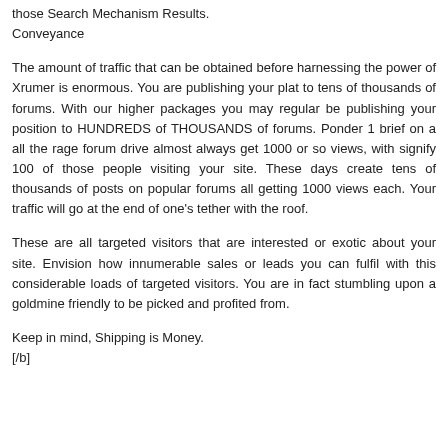those Search Mechanism Results.
Conveyance
The amount of traffic that can be obtained before harnessing the power of Xrumer is enormous. You are publishing your plat to tens of thousands of forums. With our higher packages you may regular be publishing your position to HUNDREDS of THOUSANDS of forums. Ponder 1 brief on a all the rage forum drive almost always get 1000 or so views, with signify 100 of those people visiting your site. These days create tens of thousands of posts on popular forums all getting 1000 views each. Your traffic will go at the end of one's tether with the roof.
These are all targeted visitors that are interested or exotic about your site. Envision how innumerable sales or leads you can fulfil with this considerable loads of targeted visitors. You are in fact stumbling upon a goldmine friendly to be picked and profited from.
Keep in mind, Shipping is Money.
[/b]